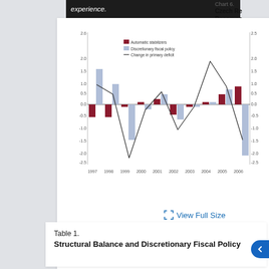experience.
Chart 6.
Czech Republic: Decomposition of Change in ...
1996-2006
(In percent)
[Figure (grouped-bar-chart): Czech Republic: Decomposition of Change in Primary Deficit, 1996-2006]
View Full Size
Citation: IMF 2007, 085; 10.5089/97...
Source: M... and IMF s...
Download PowerPoint
Table 1.
Structural Balance and Discretionary Fiscal Policy